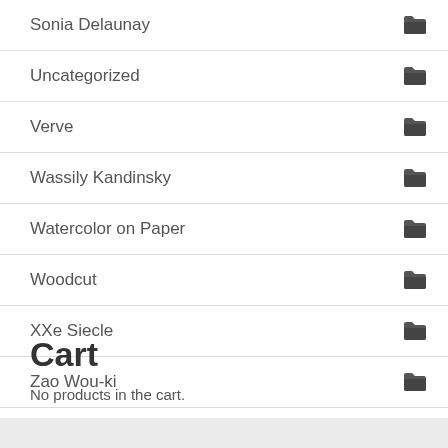Sonia Delaunay
Uncategorized
Verve
Wassily Kandinsky
Watercolor on Paper
Woodcut
XXe Siecle
Zao Wou-ki
Cart
No products in the cart.